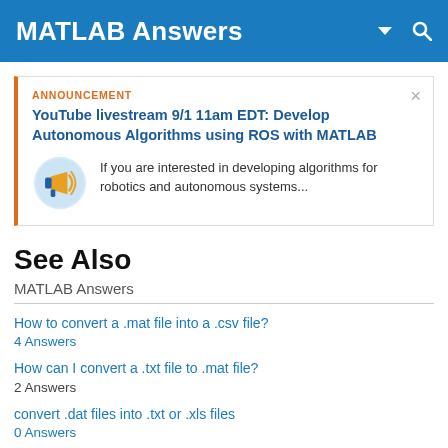MATLAB Answers
ANNOUNCEMENT
YouTube livestream 9/1 11am EDT: Develop Autonomous Algorithms using ROS with MATLAB
If you are interested in developing algorithms for robotics and autonomous systems...
See Also
MATLAB Answers
How to convert a .mat file into a .csv file?
4 Answers
How can I convert a .txt file to .mat file?
2 Answers
convert .dat files into .txt or .xls files
0 Answers
Entire Website